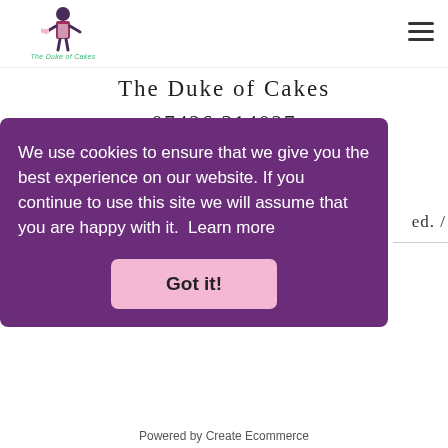[Figure (logo): The Duke of Cakes logo: cartoon figure of a man in formal attire with cakes, with text 'The Duke of Cakes' in green cursive below]
The Duke of Cakes
07426 314027
louise@the-duke-of-cakes.co.uk
Warmley, Near Bath & Bristol
We use cookies to ensure that we give you the best experience on our website. If you continue to use this site we will assume that you are happy with it.  Learn more
Powered by Create Ecommerce